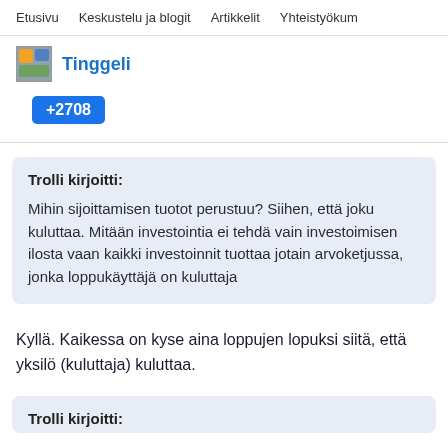Etusivu   Keskustelu ja blogit   Artikkelit   Yhteistyökum
Tinggeli
+2708
Trolli kirjoitti:

Mihin sijoittamisen tuotot perustuu? Siihen, että joku kuluttaa. Mitään investointia ei tehdä vain investoimisen ilosta vaan kaikki investoinnit tuottaa jotain arvoketjussa, jonka loppukäyttäjä on kuluttaja
Kyllä. Kaikessa on kyse aina loppujen lopuksi siitä, että yksilö (kuluttaja) kuluttaa.
Trolli kirjoitti: